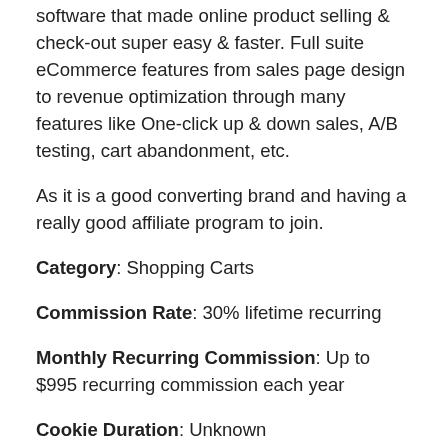software that made online product selling & check-out super easy & faster. Full suite eCommerce features from sales page design to revenue optimization through many features like One-click up & down sales, A/B testing, cart abandonment, etc.
As it is a good converting brand and having a really good affiliate program to join.
Category: Shopping Carts
Commission Rate: 30% lifetime recurring
Monthly Recurring Commission: Up to $995 recurring commission each year
Cookie Duration: Unknown
Minimum Payout: N/A
Payment Mode: PayPal